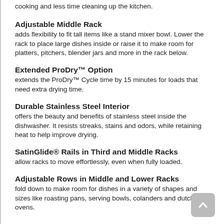cooking and less time cleaning up the kitchen.
Adjustable Middle Rack
adds flexibility to fit tall items like a stand mixer bowl. Lower the rack to place large dishes inside or raise it to make room for platters, pitchers, blender jars and more in the rack below.
Extended ProDry™ Option
extends the ProDry™ Cycle time by 15 minutes for loads that need extra drying time.
Durable Stainless Steel Interior
offers the beauty and benefits of stainless steel inside the dishwasher. It resists streaks, stains and odors, while retaining heat to help improve drying.
SatinGlide® Rails in Third and Middle Racks
allow racks to move effortlessly, even when fully loaded.
Adjustable Rows in Middle and Lower Racks
fold down to make room for dishes in a variety of shapes and sizes like roasting pans, serving bowls, colanders and dutch ovens.